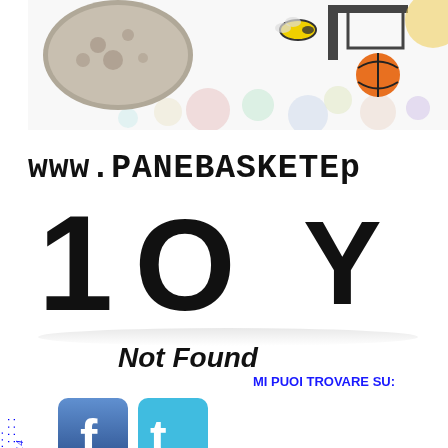[Figure (illustration): Website header with bread/basketball cartoon imagery, colorful dots/bubbles background decoration]
Panebasketefiga.com © 2004 - 2014 (vertical sidebar text)
www.PANEBASKETEF...
10 Y
Not Found
MI PUOI TROVARE SU:
[Figure (logo): Facebook logo icon (blue square with white f)]
[Figure (logo): Twitter logo icon (light blue square with white bird t)]